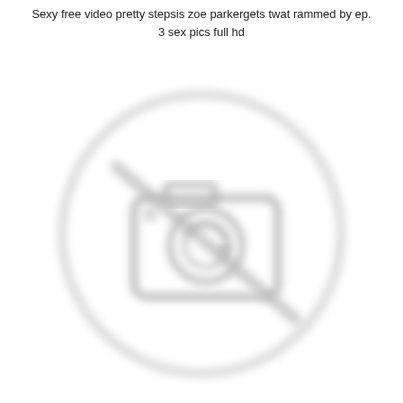Sexy free video pretty stepsis zoe parkergets twat rammed by ep.
3 sex pics full hd
[Figure (illustration): A blurred placeholder image showing a camera icon with a diagonal line through it inside a circle, indicating an unavailable or broken image. The icon and circle are rendered in light gray on a white background.]